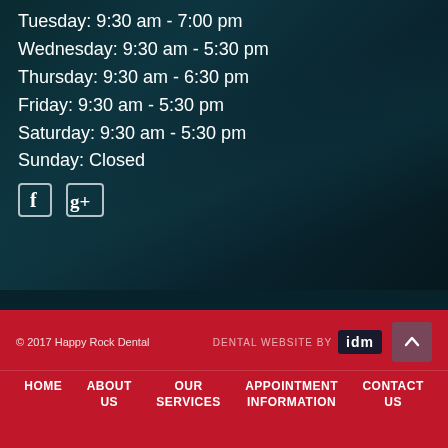Tuesday: 9:30 am - 7:00 pm
Wednesday: 9:30 am - 5:30 pm
Thursday: 9:30 am - 6:30 pm
Friday: 9:30 am - 5:30 pm
Saturday: 9:30 am - 5:30 pm
Sunday: Closed
[Figure (illustration): Facebook and Google+ social media icons]
© 2017 Happy Rock Dental    DENTAL WEBSITE BY idm    HOME  ABOUT US  OUR SERVICES  APPOINTMENT INFORMATION  CONTACT US